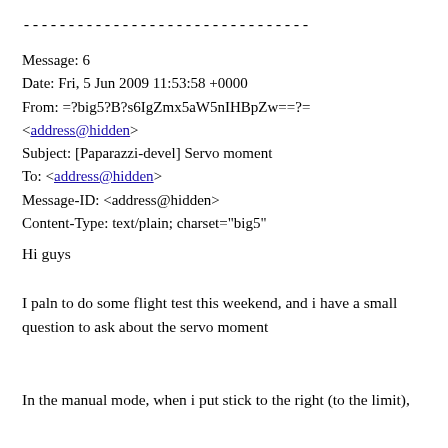--------------------------------
Message: 6
Date: Fri, 5 Jun 2009 11:53:58 +0000
From: =?big5?B?s6IgZmx5aW5nIHBpZw==?=
<address@hidden>
Subject: [Paparazzi-devel] Servo moment
To: <address@hidden>
Message-ID: <address@hidden>
Content-Type: text/plain; charset="big5"
Hi guys
I paln to do some flight test this weekend, and i have a small question to ask about the servo moment
In the manual mode, when i put stick to the right (to the limit),